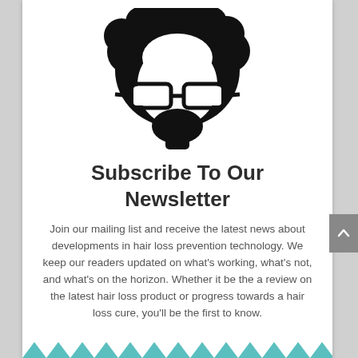[Figure (illustration): Black silhouette illustration of a person with a large afro hairstyle and thick-rimmed glasses, viewed from the front, no facial features below glasses.]
Subscribe To Our Newsletter
Join our mailing list and receive the latest news about developments in hair loss prevention technology. We keep our readers updated on what's working, what's not, and what's on the horizon. Whether it be the a review on the latest hair loss product or progress towards a hair loss cure, you'll be the first to know.